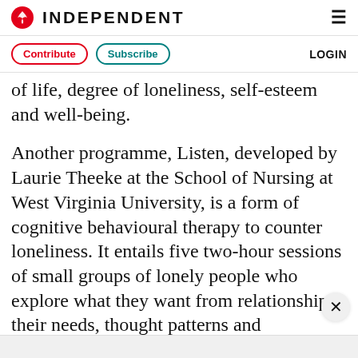INDEPENDENT
Contribute  Subscribe  LOGIN
of life, degree of loneliness, self-esteem and well-being.
Another programme, Listen, developed by Laurie Theeke at the School of Nursing at West Virginia University, is a form of cognitive behavioural therapy to counter loneliness. It entails five two-hour sessions of small groups of lonely people who explore what they want from relationships, their needs, thought patterns and behaviours.